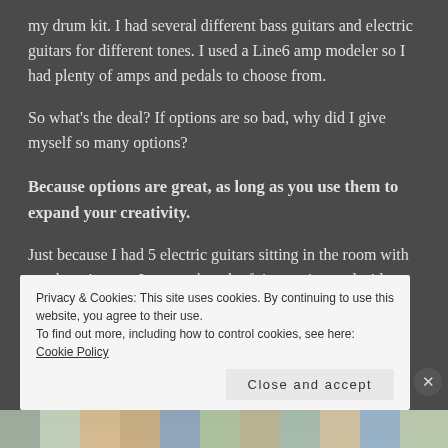my drum kit. I had several different bass guitars and electric guitars for different tones. I used a Line6 amp modeler so I had plenty of amps and pedals to choose from.
So what's the deal? If options are so bad, why did I give myself so many options?
Because options are great, as long as you use them to expand your creativity.
Just because I had 5 electric guitars sitting in the room with me doesn't mean I spent a bunch of time trying to decide what was the best guitar to use. In fact, I only used two for most of the
Privacy & Cookies: This site uses cookies. By continuing to use this website, you agree to their use.
To find out more, including how to control cookies, see here: Cookie Policy
[Figure (other): Bottom strip showing colorful illustrated cards/booklets partially visible at the bottom of the page]